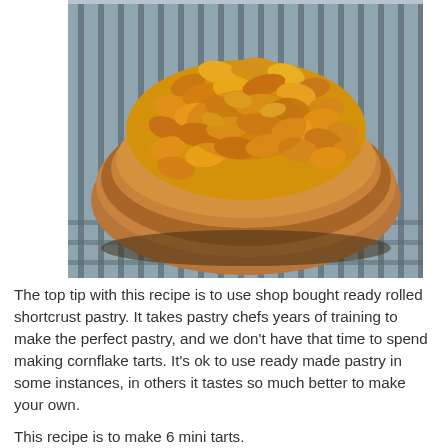[Figure (photo): A close-up photo of a cornflake tart in a fluted pastry shell, filled with golden syrup-coated cornflakes, sitting on a wire cooling rack.]
The top tip with this recipe is to use shop bought ready rolled shortcrust pastry. It takes pastry chefs years of training to make the perfect pastry, and we don't have that time to spend making cornflake tarts. It's ok to use ready made pastry in some instances, in others it tastes so much better to make your own.
This recipe is to make 6 mini tarts.